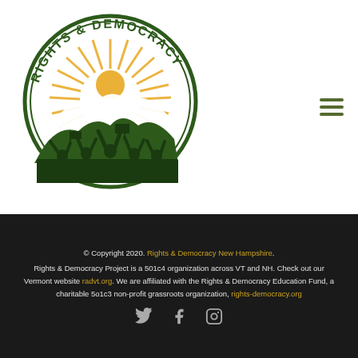[Figure (logo): Rights & Democracy circular logo with sun rays, mountain silhouette, and crowd of protesters with raised fists and signs. Dark green border circle with text 'RIGHTS & DEMOCRACY' around the top arc.]
© Copyright 2020. Rights & Democracy New Hampshire. Rights & Democracy Project is a 501c4 organization across VT and NH. Check out our Vermont website radvt.org. We are affiliated with the Rights & Democracy Education Fund, a charitable 5o1c3 non-profit grassroots organization, rights-democracy.org